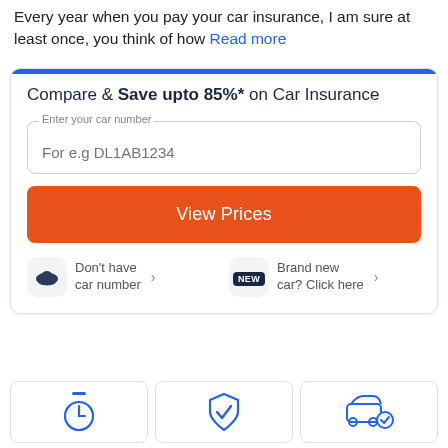Every year when you pay your car insurance, I am sure at least once, you think of how Read more
Compare & Save upto 85%* on Car Insurance
Enter your car number
For e.g DL1AB1234
View Prices
Don't have car number >
Brand new car? Click here >
[Figure (infographic): Three bottom feature cards with icons: a stopwatch, a shield with checkmark, and a car with checkmark circle]
[Figure (infographic): Car icon for 'Don't have car number' option]
[Figure (infographic): NEW badge icon for 'Brand new car? Click here' option]